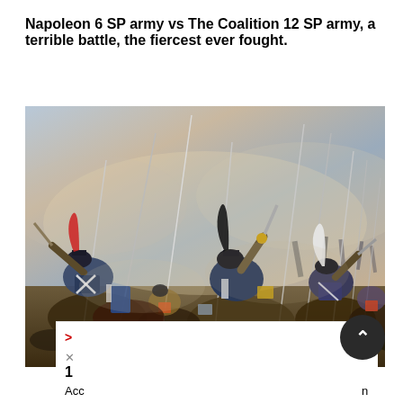Napoleon 6 SP army vs The Coalition 12 SP army, a terrible battle, the fiercest ever fought.
[Figure (illustration): A dramatic painting of a Napoleonic cavalry battle scene, with soldiers on horseback wielding sabers, wearing military uniforms with plumed helmets, clashing fiercely against each other in a chaotic and intense scene with a stormy sky background.]